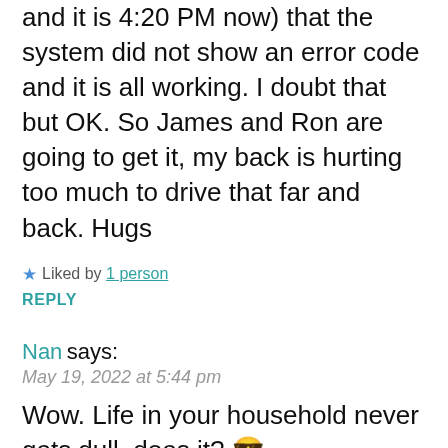and it is 4:20 PM now) that the system did not show an error code and it is all working. I doubt that but OK. So James and Ron are going to get it, my back is hurting too much to drive that far and back. Hugs
★ Liked by 1 person
REPLY
Nan says:
May 19, 2022 at 5:44 pm
Wow. Life in your household never gets dull, does it? 😎